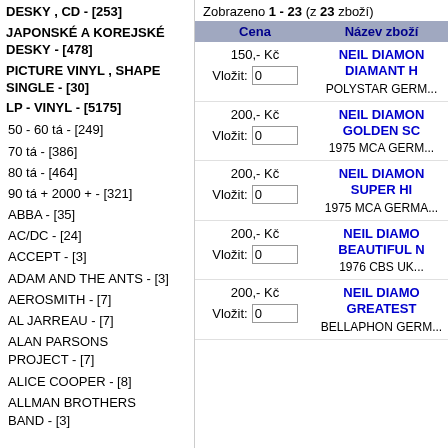DESKY , CD - [253]
JAPONSKÉ A KOREJSKÉ DESKY - [478]
PICTURE VINYL , SHAPE SINGLE - [30]
LP - VINYL - [5175]
50 - 60 tá - [249]
70 tá - [386]
80 tá - [464]
90 tá + 2000 + - [321]
ABBA - [35]
AC/DC - [24]
ACCEPT - [3]
ADAM AND THE ANTS - [3]
AEROSMITH - [7]
AL JARREAU - [7]
ALAN PARSONS PROJECT - [7]
ALICE COOPER - [8]
ALLMAN BROTHERS BAND - [3]
Zobrazeno 1 - 23 (z 23 zboží)
| Cena | Název zboží |
| --- | --- |
| 150,- Kč / Vložit: 0 | NEIL DIAMOND DIAMANT H... / POLYSTAR GERM... |
| 200,- Kč / Vložit: 0 | NEIL DIAMOND GOLDEN SC... / 1975 MCA GERM... |
| 200,- Kč / Vložit: 0 | NEIL DIAMOND SUPER HI... / 1975 MCA GERMA... |
| 200,- Kč / Vložit: 0 | NEIL DIAMOND BEAUTIFUL N... / 1976 CBS UK... |
| 200,- Kč / Vložit: 0 | NEIL DIAMOND GREATEST... / BELLAPHON GERM... |